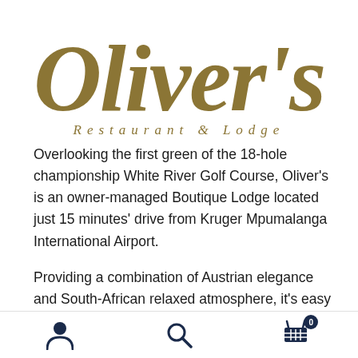[Figure (logo): Oliver's Restaurant & Lodge logo in gold/olive italic script with 'Restaurant & Lodge' in spaced italic lettering below]
Overlooking the first green of the 18-hole championship White River Golf Course, Oliver's is an owner-managed Boutique Lodge located just 15 minutes' drive from Kruger Mpumalanga International Airport.
Providing a combination of Austrian elegance and South-African relaxed atmosphere, it's easy to see
[Figure (other): Bottom navigation bar with person icon, search icon, and shopping cart icon with badge showing 0]